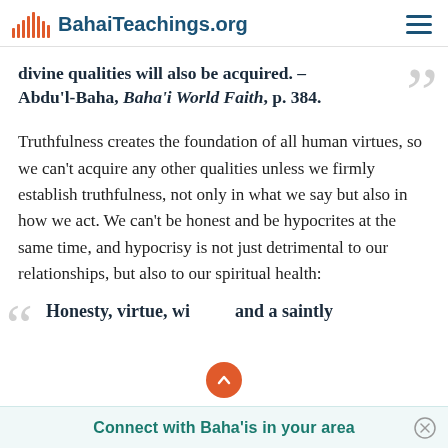BahaiTeachings.org
divine qualities will also be acquired. – Abdu'l-Baha, Baha'i World Faith, p. 384.
Truthfulness creates the foundation of all human virtues, so we can't acquire any other qualities unless we firmly establish truthfulness, not only in what we say but also in how we act. We can't be honest and be hypocrites at the same time, and hypocrisy is not just detrimental to our relationships, but also to our spiritual health:
Honesty, virtue, wi… and a saintly
Connect with Baha'is in your area